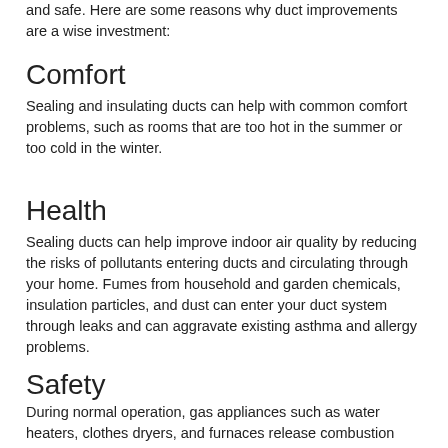and safe. Here are some reasons why duct improvements are a wise investment:
Comfort
Sealing and insulating ducts can help with common comfort problems, such as rooms that are too hot in the summer or too cold in the winter.
Health
Sealing ducts can help improve indoor air quality by reducing the risks of pollutants entering ducts and circulating through your home. Fumes from household and garden chemicals, insulation particles, and dust can enter your duct system through leaks and can aggravate existing asthma and allergy problems.
Safety
During normal operation, gas appliances such as water heaters, clothes dryers, and furnaces release combustion gases, like carbon monoxide, through their ventilation systems. Leaking ductwork in your heating and cooling systems can cause